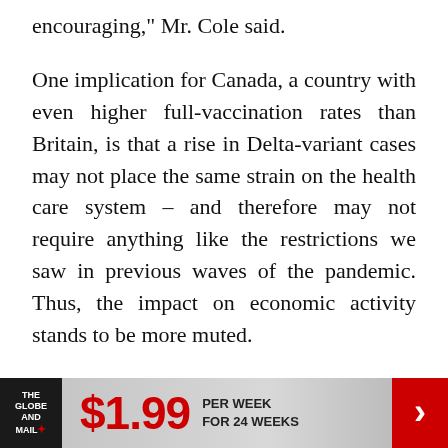encouraging," Mr. Cole said.
One implication for Canada, a country with even higher full-vaccination rates than Britain, is that a rise in Delta-variant cases may not place the same strain on the health care system – and therefore may not require anything like the restrictions we saw in previous waves of the pandemic. Thus, the impact on economic activity stands to be more muted.
That said, one big economic implication of the Delta wave is that those segments of the economy that have borne the brunt of the pandemic may have to suffer a little longer. Specifically, the variant
[Figure (infographic): The Globe and Mail subscription advertisement banner: $1.99 per week for 24 weeks, with The Globe and Mail logo on left and red arrow on right.]